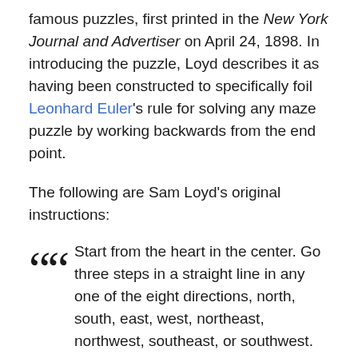famous puzzles, first printed in the New York Journal and Advertiser on April 24, 1898. In introducing the puzzle, Loyd describes it as having been constructed to specifically foil Leonhard Euler's rule for solving any maze puzzle by working backwards from the end point.
The following are Sam Loyd's original instructions:
Start from the heart in the center. Go three steps in a straight line in any one of the eight directions, north, south, east, west, northeast, northwest, southeast, or southwest. When you have gone three steps in a straight line you will reach a square with a number on it, which indicates the second day's journey, as many steps as it tells, in a straight line in any one of the eight directions. From this new